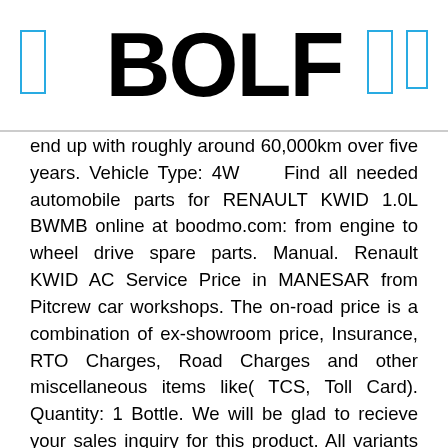BOLF
end up with roughly around 60,000km over five years. Vehicle Type: 4W    Find all needed automobile parts for RENAULT KWID 1.0L BWMB online at boodmo.com: from engine to wheel drive spare parts. Manual. Renault KWID AC Service Price in MANESAR from Pitcrew car workshops. The on-road price is a combination of ex-showroom price, Insurance, RTO Charges, Road Charges and other miscellaneous items like( TCS, Toll Card). Quantity: 1 Bottle. We will be glad to recieve your sales inquiry for this product. All variants witness a price hike of Rs. It will meet your... $9.90. ₹ 456.00 ₹ 456 . with instant saving. : ZC-6054, Vehicle Type: 4W    Kwid was launched with a 80cc engine and this had turned around the market. High-quality Oil pan for RENAULT Megane, Clio, Laguna, Espace, Scenic, Twingo, Kangoo, Trafic, 19 and other models you will find on the site onlinecarparts.co.uk . Rs 192. SKU # 61481. check if this fits your vehicle $ 4. Ask question not only for cars but also regarding the website and get all the